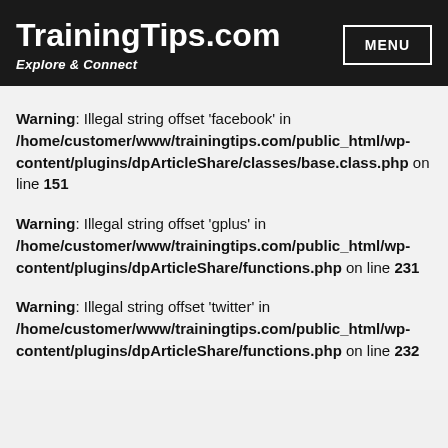TrainingTips.com — Explore & Connect
Warning: Illegal string offset 'facebook' in /home/customer/www/trainingtips.com/public_html/wp-content/plugins/dpArticleShare/classes/base.class.php on line 151
Warning: Illegal string offset 'gplus' in /home/customer/www/trainingtips.com/public_html/wp-content/plugins/dpArticleShare/functions.php on line 231
Warning: Illegal string offset 'twitter' in /home/customer/www/trainingtips.com/public_html/wp-content/plugins/dpArticleShare/functions.php on line 232